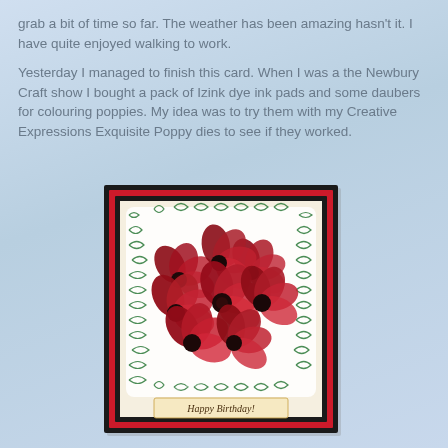grab a bit of time so far. The weather has been amazing hasn't it. I have quite enjoyed walking to work.
Yesterday I managed to finish this card. When I was a the Newbury Craft show I bought a pack of Izink dye ink pads and some daubers for colouring poppies. My idea was to try them with my Creative Expressions Exquisite Poppy dies to see if they worked.
[Figure (photo): A handmade birthday card featuring red poppies with dark centers arranged in a bouquet on a cream scalloped panel with green leaf pattern background, layered on red and black card stock. The card reads 'Happy Birthday!' at the bottom.]